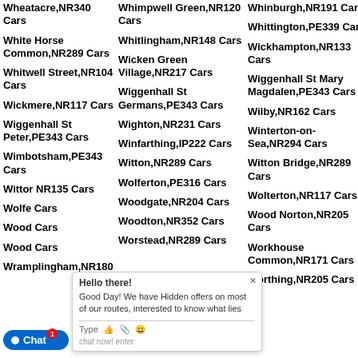Wheatacre,NR340 Cars
White Horse Common,NR289 Cars
Whitwell Street,NR104 Cars
Wickmere,NR117 Cars
Wiggenhall St Peter,PE343 Cars
Wimbotsham,PE343 Cars
Witton,NR135 Cars
Wolferton,NR Cars
Wood Dalling,NR Cars
Wood Street,NR Cars
Wramplingham,NR180
Whimpwell Green,NR120 Cars
Whitlingham,NR148 Cars
Wicken Green Village,NR217 Cars
Wiggenhall St Germans,PE343 Cars
Wighton,NR231 Cars
Winfarthing,IP222 Cars
Witton,NR289 Cars
Wolferton,PE316 Cars
Woodgate,NR204 Cars
Woodton,NR352 Cars
Worstead,NR289 Cars
Whinburgh,NR191 Cars
Whittington,PE339 Cars
Wickhampton,NR133 Cars
Wiggenhall St Mary Magdalen,PE343 Cars
Wilby,NR162 Cars
Winterton-on-Sea,NR294 Cars
Witton Bridge,NR289 Cars
Wolterton,NR117 Cars
Wood Norton,NR205 Cars
Workhouse Common,NR171 Cars
Worthing,NR205 Cars